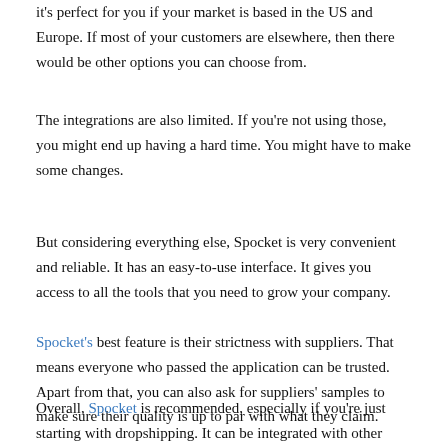it's perfect for you if your market is based in the US and Europe. If most of your customers are elsewhere, then there would be other options you can choose from.
The integrations are also limited. If you're not using those, you might end up having a hard time. You might have to make some changes.
But considering everything else, Spocket is very convenient and reliable. It has an easy-to-use interface. It gives you access to all the tools that you need to grow your company.
Spocket's best feature is their strictness with suppliers. That means everyone who passed the application can be trusted. Apart from that, you can also ask for suppliers' samples to make sure their quality is up to par with what they claim.
Overall, Spocket is recommended, especially if you're just starting with dropshipping. It can be integrated with other platforms, making